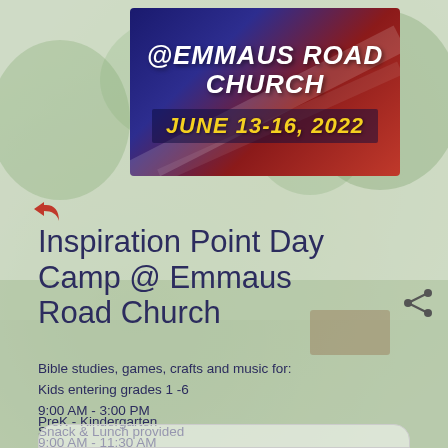[Figure (illustration): Outdoor park/church scene background photo with green trees and lawn, faded/washed out]
[Figure (logo): Banner graphic: '@EMMAUS ROAD CHURCH' in bold italic white text on dark blue/red gradient background with diagonal line, 'JUNE 13-16, 2022' in bold italic yellow text on dark background]
Inspiration Point Day Camp @ Emmaus Road Church
Bible studies, games, crafts and music for:
Kids entering grades 1 -6
9:00 AM - 3:00 PM
Snack & Lunch provided
PreK - Kindergarten
9:00 AM - 11:30 AM
Snack provided